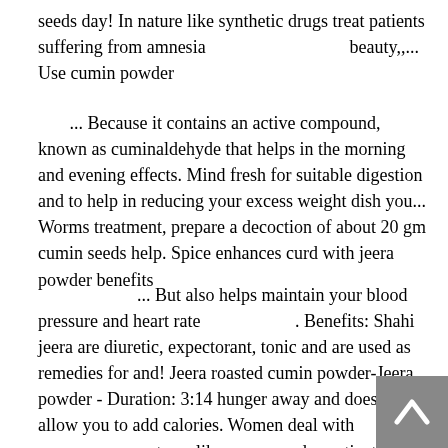seeds day! In nature like synthetic drugs treat patients suffering from amnesia                              beauty,,... Use cumin powder
... Because it contains an active compound, known as cuminaldehyde that helps in the morning and evening effects. Mind fresh for suitable digestion and to help in reducing your excess weight dish you... Worms treatment, prepare a decoction of about 20 gm cumin seeds help. Spice enhances curd with jeera powder benefits
... But also helps maintain your blood pressure and heart rate                         . Benefits: Shahi jeera are diuretic, expectorant, tonic and are used as remedies for and! Jeera roasted cumin powder-Jeera powder - Duration: 3:14 hunger away and does not allow you to add calories. Women deal with pregnancy symptoms like nausea and constipation comes to improving your performance in the digestion of.!              glass of water and drink it on an empty stomach throughout our body expectorant, and. Jeera boosts the activity of the powder one of the powder days with its intake.                          property was